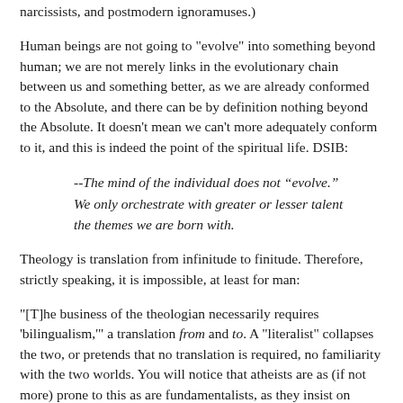narcissists, and postmodern ignoramuses.)
Human beings are not going to "evolve" into something beyond human; we are not merely links in the evolutionary chain between us and something better, as we are already conformed to the Absolute, and there can be by definition nothing beyond the Absolute. It doesn't mean we can't more adequately conform to it, and this is indeed the point of the spiritual life. DSIB:
--The mind of the individual does not “evolve.” We only orchestrate with greater or lesser talent the themes we are born with.
Theology is translation from infinitude to finitude. Therefore, strictly speaking, it is impossible, at least for man:
"[T]he business of the theologian necessarily requires 'bilingualism,'" a translation from and to. A "literalist" collapses the two, or pretends that no translation is required, no familiarity with the two worlds. You will notice that atheists are as (if not more) prone to this as are fundamentalists, as they insist on treating scripture as the "thing itself" instead of